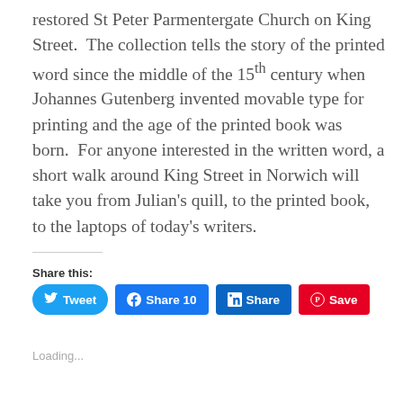restored St Peter Parmentergate Church on King Street.  The collection tells the story of the printed word since the middle of the 15th century when Johannes Gutenberg invented movable type for printing and the age of the printed book was born.  For anyone interested in the written word, a short walk around King Street in Norwich will take you from Julian's quill, to the printed book, to the laptops of today's writers.
Share this:
Tweet  Share 10  Share  Save
Loading...